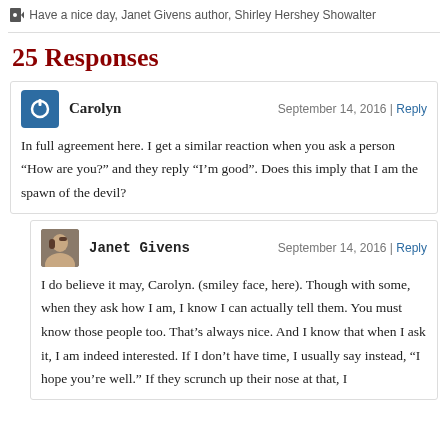Have a nice day, Janet Givens author, Shirley Hershey Showalter
25 Responses
Carolyn  September 14, 2016 | Reply
In full agreement here. I get a similar reaction when you ask a person “How are you?” and they reply “I’m good”. Does this imply that I am the spawn of the devil?
Janet Givens  September 14, 2016 | Reply
I do believe it may, Carolyn. (smiley face, here). Though with some, when they ask how I am, I know I can actually tell them. You must know those people too. That’s always nice. And I know that when I ask it, I am indeed interested. If I don’t have time, I usually say instead, “I hope you’re well.” If they scrunch up their nose at that, I